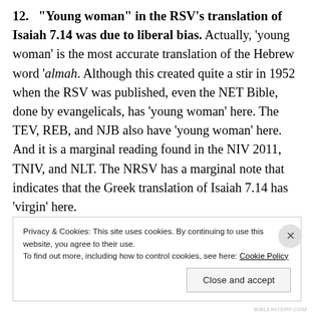12. "Young woman" in the RSV's translation of Isaiah 7.14 was due to liberal bias. Actually, 'young woman' is the most accurate translation of the Hebrew word 'almah. Although this created quite a stir in 1952 when the RSV was published, even the NET Bible, done by evangelicals, has 'young woman' here. The TEV, REB, and NJB also have 'young woman' here. And it is a marginal reading found in the NIV 2011, TNIV, and NLT. The NRSV has a marginal note that indicates that the Greek translation of Isaiah 7.14 has 'virgin' here.
Privacy & Cookies: This site uses cookies. By continuing to use this website, you agree to their use. To find out more, including how to control cookies, see here: Cookie Policy
Close and accept